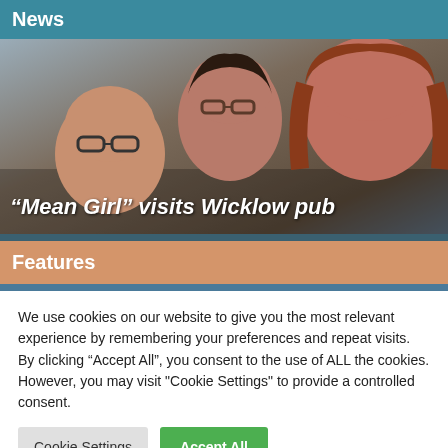News
[Figure (photo): Photo of three people: a young boy with glasses smiling, a teenage girl with glasses, and a woman with long red hair smiling, posed together for a selfie-style photo.]
“Mean Girl” visits Wicklow pub
Features
We use cookies on our website to give you the most relevant experience by remembering your preferences and repeat visits. By clicking “Accept All”, you consent to the use of ALL the cookies. However, you may visit "Cookie Settings" to provide a controlled consent.
Cookie Settings | Accept All